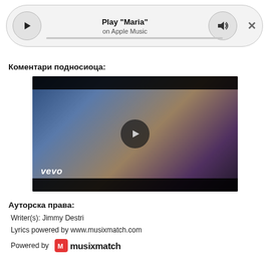[Figure (screenshot): Apple Music player bar with play button, 'Play "Maria"' title, 'on Apple Music' subtitle, volume button, close (X) button, and a gray progress bar]
Коментари подносиоца:
[Figure (screenshot): Video thumbnail showing a blonde woman singing on stage with a microphone, blue/purple lighting, vevo logo in bottom left, and a play button overlay in the center]
Ауторска права:
Writer(s): Jimmy Destri
Lyrics powered by www.musixmatch.com
Powered by musixmatch